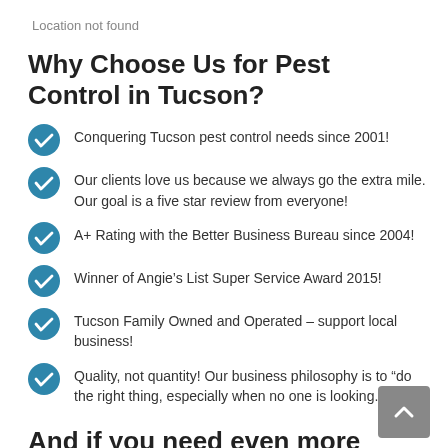Location not found
Why Choose Us for Pest Control in Tucson?
Conquering Tucson pest control needs since 2001!
Our clients love us because we always go the extra mile. Our goal is a five star review from everyone!
A+ Rating with the Better Business Bureau since 2004!
Winner of Angie’s List Super Service Award 2015!
Tucson Family Owned and Operated – support local business!
Quality, not quantity! Our business philosophy is to “do the right thing, especially when no one is looking.”
And if you need even more reasons to give us a call!